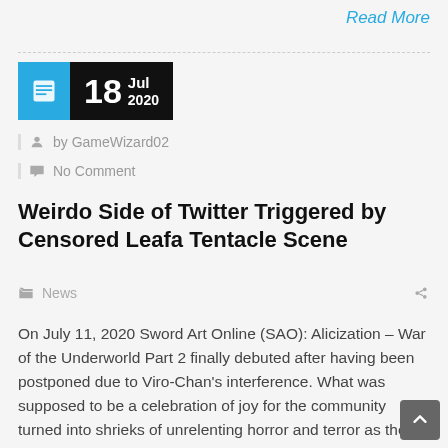Read More
18 Jul 2020
by GameWizard02
No Comment
Weirdo Side of Twitter Triggered by Censored Leafa Tentacle Scene
News
On July 11, 2020 Sword Art Online (SAO): Alicization – War of the Underworld Part 2 finally debuted after having been postponed due to Viro-Chan's interference. What was supposed to be a celebration of joy for the community turned into shrieks of unrelenting horror and terror as the pearl clutchers witnessed the unspeakable act of [...]